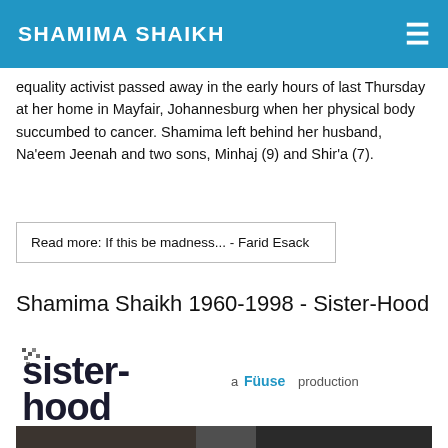SHAMIMA SHAIKH
equality activist passed away in the early hours of last Thursday at her home in Mayfair, Johannesburg when her physical body succumbed to cancer. Shamima left behind her husband, Na'eem Jeenah and two sons, Minhaj (9) and Shir'a (7).
Read more: If this be madness... - Farid Esack
Shamima Shaikh 1960-1998 - Sister-Hood
[Figure (logo): Sister-Hood pixelated logo with 'a Fuuse production' text beside it]
[Figure (photo): Partial photo of a person, top cropped at page edge]